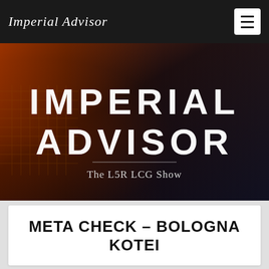Imperial Advisor
[Figure (illustration): Hero banner image with dark fantasy/feudal Japan style artwork showing an armored skeleton figure. Overlaid with large white uppercase text 'IMPERIAL ADVISOR' and a horizontal rule followed by subtitle 'The L5R LCG Show']
META CHECK – BOLOGNA KOTEI